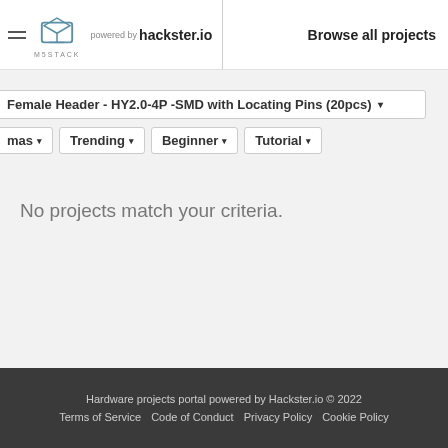powered by hackster.io | Browse all projects
Female Header - HY2.0-4P -SMD with Locating Pins (20pcs)
mas  Trending  Beginner  Tutorial
No projects match your criteria.
Hardware projects portal powered by Hackster.io © 2022
Terms of Service    Code of Conduct    Privacy Policy    Cookie Policy